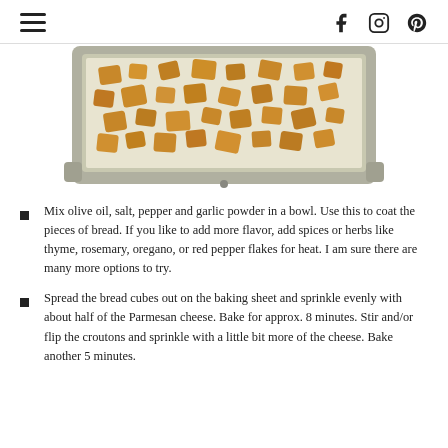Navigation and social icons (hamburger menu, Facebook, Instagram, Pinterest)
[Figure (photo): A baking sheet with golden croutons baked on parchment paper, viewed from above.]
Mix olive oil, salt, pepper and garlic powder in a bowl. Use this to coat the pieces of bread. If you like to add more flavor, add spices or herbs like thyme, rosemary, oregano, or red pepper flakes for heat. I am sure there are many more options to try.
Spread the bread cubes out on the baking sheet and sprinkle evenly with about half of the Parmesan cheese. Bake for approx. 8 minutes. Stir and/or flip the croutons and sprinkle with a little bit more of the cheese. Bake another 5 minutes.